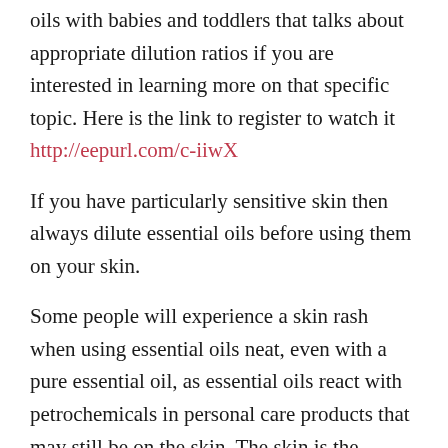oils with babies and toddlers that talks about appropriate dilution ratios if you are interested in learning more on that specific topic. Here is the link to register to watch it http://eepurl.com/c-iiwX If you have particularly sensitive skin then always dilute essential oils before using them on your skin.
Some people will experience a skin rash when using essential oils neat, even with a pure essential oil, as essential oils react with petrochemicals in personal care products that may still be on the skin. The skin is the largest organ of the body and anything that goes onto it is absorbed in to the blood stream. If you wouldn't eat it why put it on your skin.